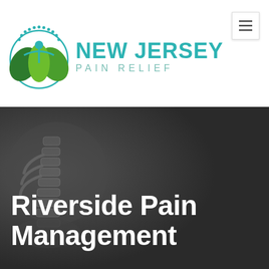[Figure (logo): New Jersey Pain Relief logo with green leaf and teal figure emblem on the left, and 'NEW JERSEY PAIN RELIEF' text in teal on the right]
[Figure (photo): Dark grey background with a 3D rendered human spine/torso on the left side, serving as hero image background for Riverside Pain Management]
Riverside Pain Management